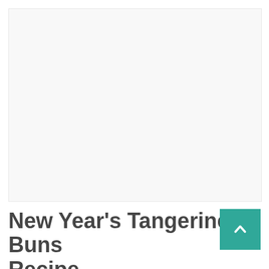[Figure (photo): Large image area showing New Year's Tangerine Buns — appears as a light/white placeholder image area]
New Year's Tangerine Buns Recipe